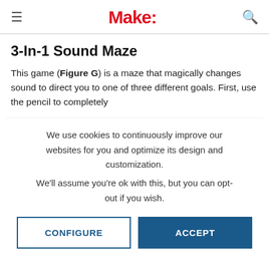Make:
3-In-1 Sound Maze
This game (Figure G) is a maze that magically changes sound to direct you to one of three different goals. First, use the pencil to completely
We use cookies to continuously improve our websites for you and optimize its design and customization.
We'll assume you're ok with this, but you can opt-out if you wish.
CONFIGURE
ACCEPT